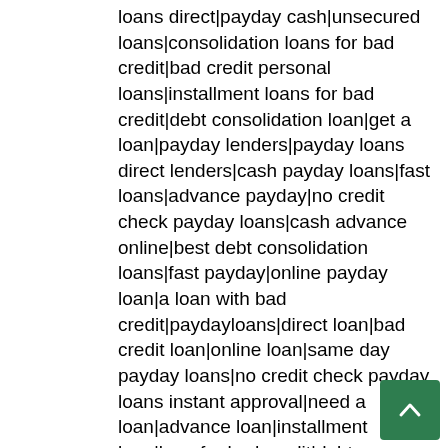loans direct|payday cash|unsecured loans|consolidation loans for bad credit|bad credit personal loans|installment loans for bad credit|debt consolidation loan|get a loan|payday lenders|payday loans direct lenders|cash payday loans|fast loans|advance payday|no credit check payday loans|cash advance online|best debt consolidation loans|fast payday|online payday loan|a loan with bad credit|paydayloans|direct loan|bad credit loan|online loan|same day payday loans|no credit check payday loans instant approval|need a loan|advance loan|installment loan|loan for bad credit|debt consolidation loans for bad credit|personal loans bad credit|fast loan|personal loans with bad credit|loans for women|loan lenders|instant payday|personal lending|poor credit loans|same day loans|payday cash advance|need money now|payday loans no credit check same day|bad credit payday|loan no credit|loan bad credit|same day payday loans no credit check|installment loans no credit|a payday loan|online payday loans instant approval|payday loan online|cash payday loans online|personal loans for people with bad credit|no fax payday loan|loan no credit check|quick money|easy payday|pay day loan|quick cash loans|direct lending|emergency loans|lenders for bad credit|advance payday loan|fast cash loans|easy loans|loan money|best personal loan|secured loans|payday loan lenders|low interest personal loans|cash advance payday loan|loans with low interest|cash loan online|loans with low interest rates|installment loans online|online installment loans|bad credit installment loans|installment loans no